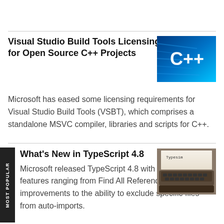Visual Studio Build Tools Licensing Eased for Open Source C++ Projects
[Figure (photo): Blue abstract C++ logo image with speed lines]
Microsoft has eased some licensing requirements for Visual Studio Build Tools (VSBT), which comprises a standalone MSVC compiler, libraries and scripts for C++.
What's New in TypeScript 4.8
[Figure (photo): Vintage typewriter with 'Typescript' typed on paper]
Microsoft released TypeScript 4.8 with a host of new features ranging from Find All References improvements to the ability to exclude specific files from auto-imports.